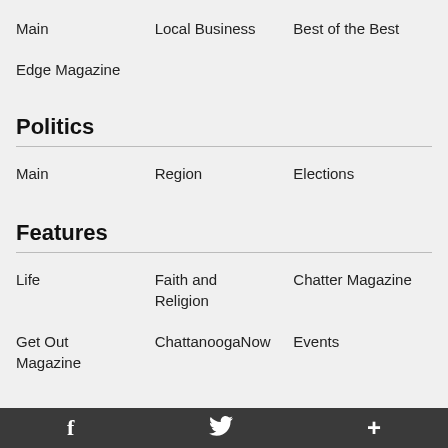Main   Local Business   Best of the Best
Edge Magazine
Politics
Main   Region   Elections
Features
Life   Faith and Religion   Chatter Magazine
Get Out Magazine   ChattanoogaNow   Events
f  [twitter bird]  +